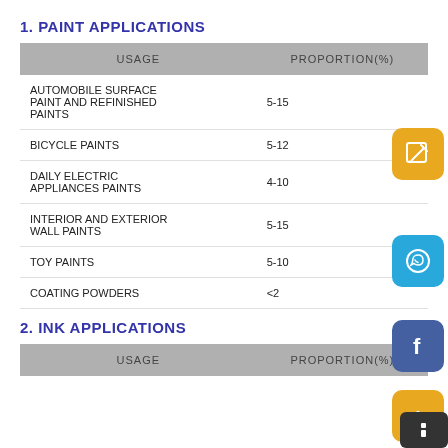1. PAINT APPLICATIONS
| USAGE | PROPORTION(%) |
| --- | --- |
| AUTOMOBILE SURFACE PAINT AND REFINISHED PAINTS | 5-15 |
| BICYCLE PAINTS | 5-12 |
| DAILY ELECTRIC APPLIANCES PAINTS | 4-10 |
| INTERIOR AND EXTERIOR WALL PAINTS | 5-15 |
| TOY PAINTS | 5-10 |
| COATING POWDERS | <2 |
2. INK APPLICATIONS
| USAGE | PROPORTION(%) |
| --- | --- |